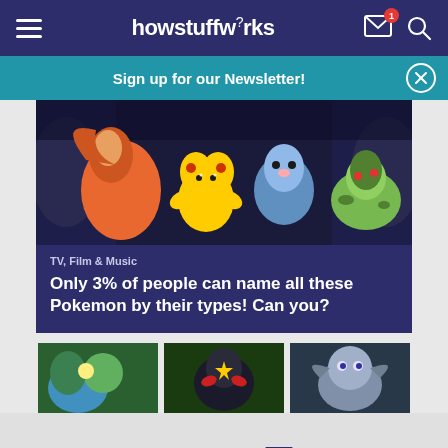howstuffworks
Sign up for our Newsletter!
[Figure (photo): Animated Pokemon characters including Charizard, Pikachu, Squirtle, and Bulbasaur in a cave setting]
TV, Film & Music
Only 3% of people can name all these Pokemon by their types! Can you?
[Figure (photo): Three Pokemon character images shown side by side at the bottom of the page]